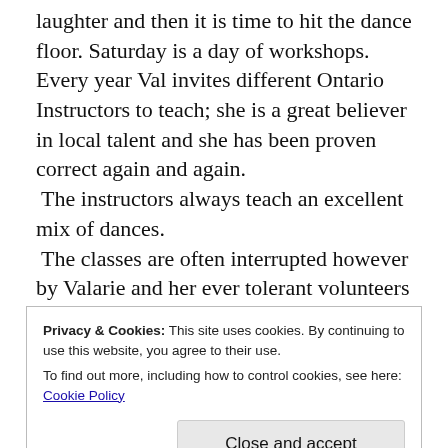laughter and then it is time to hit the dance floor. Saturday is a day of workshops. Every year Val invites different Ontario Instructors to teach; she is a great believer in local talent and she has been proven correct again and again. The instructors always teach an excellent mix of dances. The classes are often interrupted however by Valarie and her ever tolerant volunteers garbed in weird and wonderful costumes intended to ensure that the paying customers' stomachs ache with laughter by the time they go home! Val tells the story of the time one of the instructors had to be carried onto the stage because she had two rubber alligators strapped on her and couldn't bend her legs! Valarie will do anything for a laugh, “Good for the soul”,
Privacy & Cookies: This site uses cookies. By continuing to use this website, you agree to their use. To find out more, including how to control cookies, see here: Cookie Policy
Close and accept
the year July 2015 that there will be a Guild...